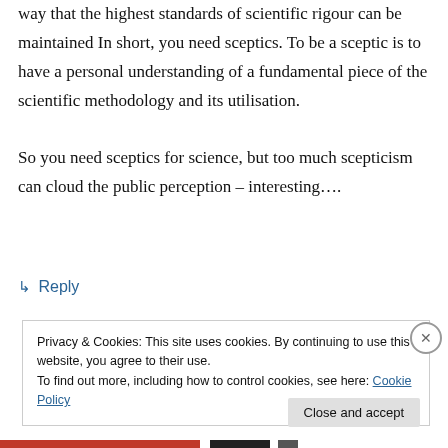way that the highest standards of scientific rigour can be maintained In short, you need sceptics. To be a sceptic is to have a personal understanding of a fundamental piece of the scientific methodology and its utilisation.

So you need sceptics for science, but too much scepticism can cloud the public perception – interesting….
↳ Reply
Privacy & Cookies: This site uses cookies. By continuing to use this website, you agree to their use.
To find out more, including how to control cookies, see here: Cookie Policy
Close and accept